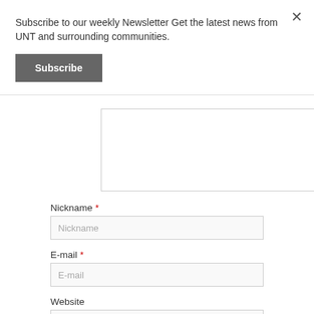Subscribe to our weekly Newsletter Get the latest news from UNT and surrounding communities.
Subscribe
Nickname *
E-mail *
Website